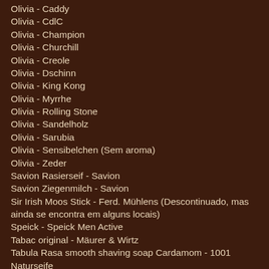Olivia - Caddy
Olivia - CdlC
Olivia - Champion
Olivia - Churchill
Olivia - Creole
Olivia - Dschinn
Olivia - King Kong
Olivia - Myrrhe
Olivia - Rolling Stone
Olivia - Sandelholz
Olivia - Sarubia
Olivia - Sensibelchen (Sem aroma)
Olivia - Zeder
Savion Rasierseif - Savion
Savion Ziegenmilch - Savion
Sir Irish Moos Stick - Ferd. Mühlens (Descontinuado, mas ainda se encontra em alguns locais)
Speick - Speick Men Active
Tabac original - Mäurer & Wirtz
Tabula Rasa smooth shaving soap Cardamom - 1001 Naturseife
Tabula Rasa smooth shaving soap Dezember - 1001 Naturseife